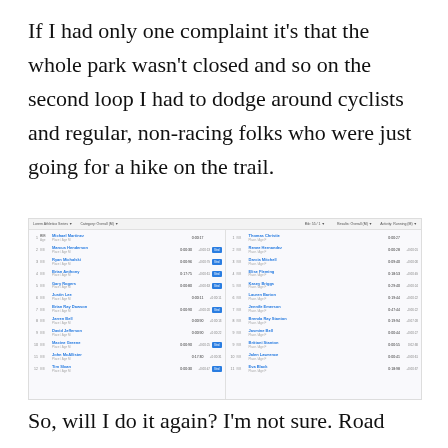If I had only one complaint it's that the whole park wasn't closed and so on the second loop I had to dodge around cyclists and regular, non-racing folks who were just going for a hike on the trail.
[Figure (screenshot): A screenshot of a race results web page showing two columns of race results with competitor names in blue, bib numbers, finishing times, and time differences. Some rows have blue 'Strava' or similar badge buttons.]
So, will I do it again? I'm not sure. Road